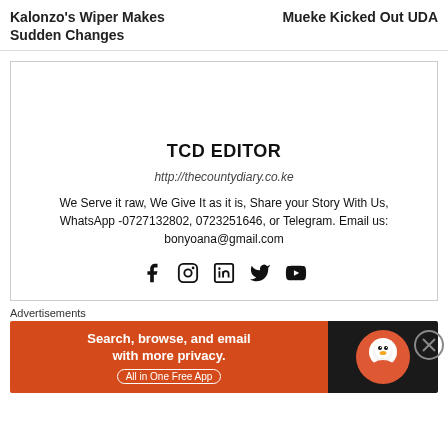Kalonzo's Wiper Makes Sudden Changes
Mueke Kicked Out UDA
TCD EDITOR
http://thecountydiary.co.ke
We Serve it raw, We Give It as it is, Share your Story With Us, WhatsApp -0727132802, 0723251646, or Telegram. Email us: bonyoana@gmail.com
Advertisements
[Figure (screenshot): DuckDuckGo advertisement banner: 'Search, browse, and email with more privacy. All in One Free App' on orange background with DuckDuckGo logo on dark background]